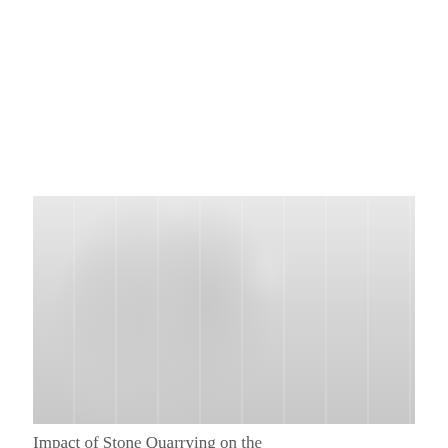[Figure (photo): Faint/washed-out photograph of large industrial stone quarrying machinery (cone crushers/mills) inside a factory or plant building. The equipment is large, metallic, cylindrical in form, situated in a warehouse-like structure with visible roof trusses and natural light.]
Impact of Stone Quarrying on the